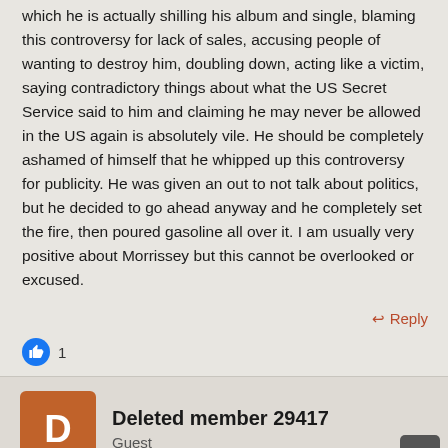which he is actually shilling his album and single, blaming this controversy for lack of sales, accusing people of wanting to destroy him, doubling down, acting like a victim, saying contradictory things about what the US Secret Service said to him and claiming he may never be allowed in the US again is absolutely vile. He should be completely ashamed of himself that he whipped up this controversy for publicity. He was given an out to not talk about politics, but he decided to go ahead anyway and he completely set the fire, then poured gasoline all over it. I am usually very positive about Morrissey but this cannot be overlooked or excused.
Reply
1
Deleted member 29417
Guest
Jun 13, 2022
#211
Redacted said: